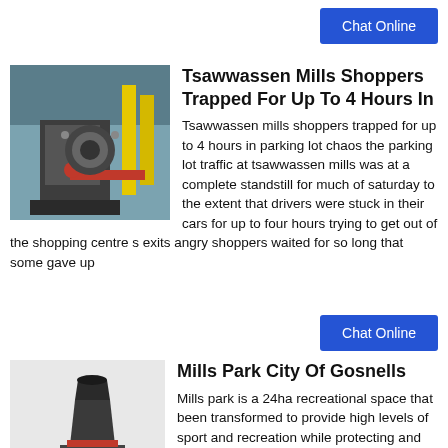[Figure (other): Blue Chat Online button in top right corner]
[Figure (photo): Industrial machinery with pipes and mechanical components, yellow and red pipes visible]
Tsawwassen Mills Shoppers Trapped For Up To 4 Hours In
Tsawwassen mills shoppers trapped for up to 4 hours in parking lot chaos the parking lot traffic at tsawwassen mills was at a complete standstill for much of saturday to the extent that drivers were stuck in their cars for up to four hours trying to get out of the shopping centre s exits angry shoppers waited for so long that some gave up
[Figure (other): Blue Chat Online button in middle right area]
[Figure (photo): Industrial mill or grinder machine, dark colored equipment]
Mills Park City Of Gosnells
Mills park is a 24ha recreational space that been transformed to provide high levels of sport and recreation while protecting and celebrating the park s natural assets visit the new community facility expanded green areas new sports buildings increased car parking improved irrigation rehabilitation of the wetlands and waterways a significant nature play playground piazza and youth